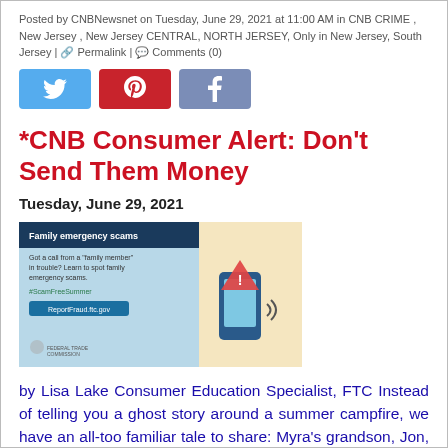Posted by CNBNewsnet on Tuesday, June 29, 2021 at 11:00 AM in CNB CRIME , New Jersey , New Jersey CENTRAL, NORTH JERSEY, Only in New Jersey, South Jersey | Permalink | Comments (0)
[Figure (other): Social media share buttons: Twitter (blue), Pinterest (red), Facebook (blue-grey)]
*CNB Consumer Alert: Don't Send Them Money
Tuesday, June 29, 2021
[Figure (infographic): FTC infographic about Family emergency scams. Text: 'Got a call from a "family member" in trouble? Learn to spot family emergency scams. #ScamFreeSummer ReportFraud.ftc.gov'. Shows a phone with an alert/warning icon and sound waves. Federal Trade Commission logo at bottom left.]
by Lisa Lake Consumer Education Specialist, FTC Instead of telling you a ghost story around a summer campfire, we have an all-too familiar tale to share: Myra's grandson, Jon, is in Mexico for the summer. They video